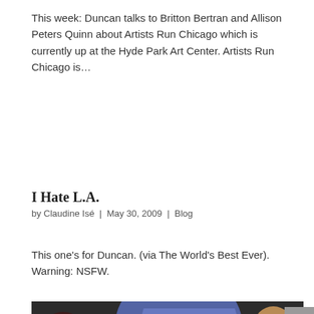This week: Duncan talks to Britton Bertran and Allison Peters Quinn about Artists Run Chicago which is currently up at the Hyde Park Art Center. Artists Run Chicago is…
I Hate L.A.
by Claudine Isé | May 30, 2009 | Blog
This one's for Duncan. (via The World's Best Ever). Warning: NSFW.
[Figure (photo): A video still showing two people in front of a colorful abstract background with blue and green shapes, with a Photobucket watermark overlay reading 'host. store. share.']